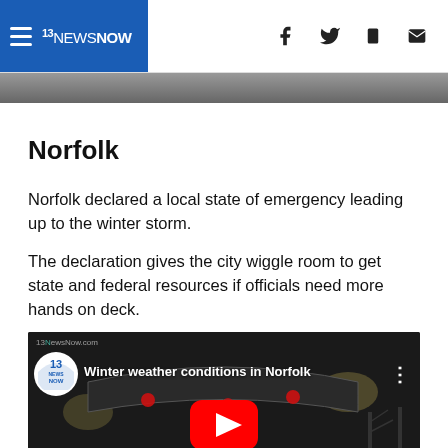13 NEWS NOW
[Figure (screenshot): Top portion of an image, showing a partially visible person in dark clothing]
Norfolk
Norfolk declared a local state of emergency leading up to the winter storm.
The declaration gives the city wiggle room to get state and federal resources if officials need more hands on deck.
[Figure (screenshot): YouTube embedded video thumbnail showing winter weather conditions in Norfolk at night, with a red YouTube play button in the center. Title reads 'Winter weather conditions in Norfolk'. 13NewsNow logo shown in top left.]